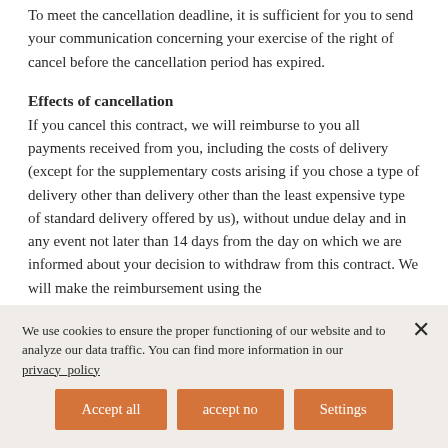To meet the cancellation deadline, it is sufficient for you to send your communication concerning your exercise of the right of cancel before the cancellation period has expired.
Effects of cancellation
If you cancel this contract, we will reimburse to you all payments received from you, including the costs of delivery (except for the supplementary costs arising if you chose a type of delivery other than delivery other than the least expensive type of standard delivery offered by us), without undue delay and in any event not later than 14 days from the day on which we are informed about your decision to withdraw from this contract. We will make the reimbursement using the
We use cookies to ensure the proper functioning of our website and to analyze our data traffic. You can find more information in our privacy policy
Accept all
accept no
Settings